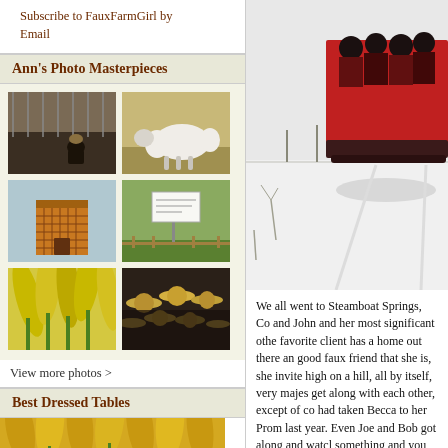Subscribe to FauxFarmGirl by Email
Ann's Photo Masterpieces
[Figure (photo): Six thumbnail photos arranged in a 2x3 grid: child sitting by fence, sheep lying in field, wooden outhouse/shed, sign in field, yellow flowers, crowd wearing straw hats]
View more photos >
Best Dressed Tables
[Figure (photo): Partial view of yellow/orange tulips or flowers]
[Figure (photo): People riding on a red sleigh/wagon in snowy winter landscape at Steamboat Springs]
We all went to Steamboat Springs, Co and John and her most significant othe favorite client has a home out there an good faux friend that she is, she invite high on a hill, all by itself, very majes get along with each other, except of co had taken Becca to her Prom last year. Even Joe and Bob got along and watcl something and you have seen the phot here is our next adventure. Sleigh ridin